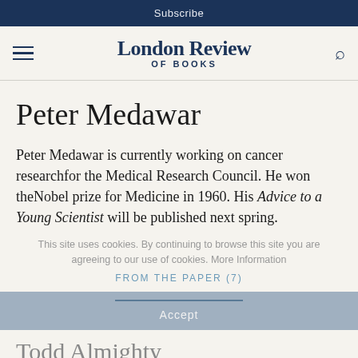Subscribe
London Review OF BOOKS
Peter Medawar
Peter Medawar is currently working on cancer researchfor the Medical Research Council. He won theNobel prize for Medicine in 1960. His Advice to a Young Scientist will be published next spring.
This site uses cookies. By continuing to browse this site you are agreeing to our use of cookies. More Information
FROM THE PAPER (7)
Accept
Todd Almighty